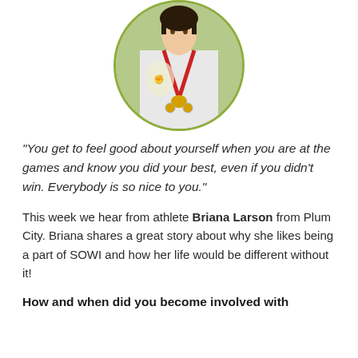[Figure (photo): Circular framed photo of Briana Larson wearing a white athletic top and red lanyard with medals, with a decorative background]
“You get to feel good about yourself when you are at the games and know you did your best, even if you didn’t win. Everybody is so nice to you.”
This week we hear from athlete Briana Larson from Plum City. Briana shares a great story about why she likes being a part of SOWI and how her life would be different without it!
How and when did you become involved with